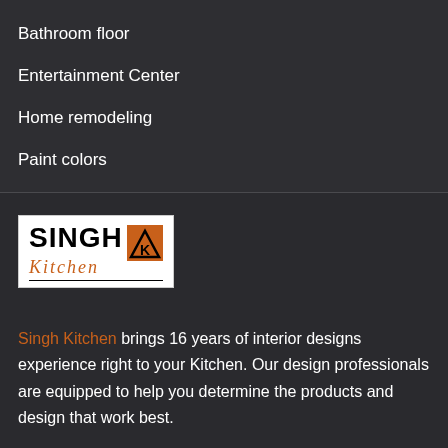Bathroom floor
Entertainment Center
Home remodeling
Paint colors
[Figure (logo): Singh Kitchen logo with bold black SINGH text, orange/brown icon, and italic orange Kitchen script text with underline, on white background]
Singh Kitchen brings 16 years of interior designs experience right to your Kitchen. Our design professionals are equipped to help you determine the products and design that work best.
Address